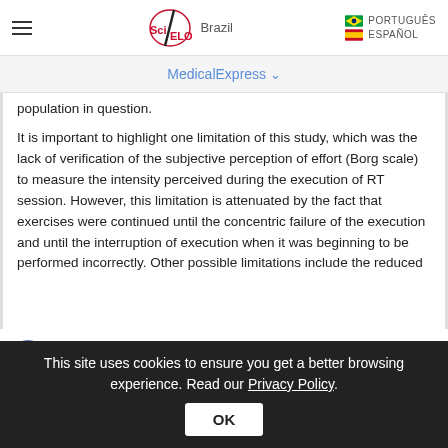SciELO Brazil | PORTUGUÊS | ESPAÑOL
MedicalExpress ˅
population in question.
It is important to highlight one limitation of this study, which was the lack of verification of the subjective perception of effort (Borg scale) to measure the intensity perceived during the execution of RT session. However, this limitation is attenuated by the fact that exercises were continued until the concentric failure of the execution and until the interruption of execution when it was beginning to be performed incorrectly. Other possible limitations include the reduced
This site uses cookies to ensure you get a better browsing experience. Read our Privacy Policy.